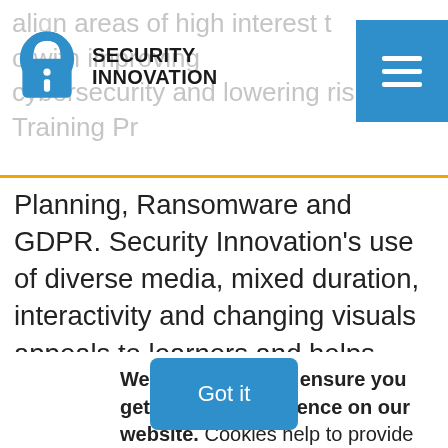Security Innovation
Planning, Ransomware and GDPR. Security Innovation's use of diverse media, mixed duration, interactivity and changing visuals appeals to learners and helps increase the effectiveness of training programs, and its holistic, lifecycle approach to training management promotes close alignment
We use cookies to ensure you get the best experience on our website. Cookies help to provide a more personalized experience and relevant advertising for you, and web analytics for us. To learn more, check out our Privacy Policy.